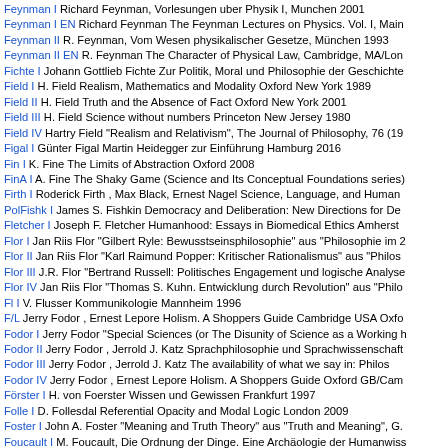Feynman I Richard Feynman, Vorlesungen uber Physik I, Munchen 2001
Feynman I EN Richard Feynman The Feynman Lectures on Physics. Vol. I, Main
Feynman II R. Feynman, Vom Wesen physikalischer Gesetze, München 1993
Feynman II EN R. Feynman The Character of Physical Law, Cambridge, MA/Lon
Fichte I Johann Gottlieb Fichte Zur Politik, Moral und Philosophie der Geschichte
Field I H. Field Realism, Mathematics and Modality Oxford New York 1989
Field II H. Field Truth and the Absence of Fact Oxford New York 2001
Field III H. Field Science without numbers Princeton New Jersey 1980
Field IV Hartry Field "Realism and Relativism", The Journal of Philosophy, 76 (19
Figal I Günter Figal Martin Heidegger zur Einführung Hamburg 2016
Fin I K. Fine The Limits of Abstraction Oxford 2008
FinA I A. Fine The Shaky Game (Science and Its Conceptual Foundations series)
Firth I Roderick Firth , Max Black, Ernest Nagel Science, Language, and Human
PolFishk I James S. Fishkin Democracy and Deliberation: New Directions for De
Fletcher I Joseph F. Fletcher Humanhood: Essays in Biomedical Ethics Amherst
Flor I Jan Riis Flor "Gilbert Ryle: Bewusstseinsphilosophie" aus "Philosophie im 2
Flor II Jan Riis Flor "Karl Raimund Popper: Kritischer Rationalismus" aus "Philos
Flor III J.R. Flor "Bertrand Russell: Politisches Engagement und logische Analyse
Flor IV Jan Riis Flor "Thomas S. Kuhn. Entwicklung durch Revolution" aus "Philo
Fl I V. Flusser Kommunikologie Mannheim 1996
F/L Jerry Fodor , Ernest Lepore Holism. A Shoppers Guide Cambridge USA Oxfo
Fodor I Jerry Fodor "Special Sciences (or The Disunity of Science as a Working h
Fodor II Jerry Fodor , Jerrold J. Katz Sprachphilosophie und Sprachwissenschaft
Fodor III Jerry Fodor , Jerrold J. Katz The availability of what we say in: Philos
Fodor IV Jerry Fodor , Ernest Lepore Holism. A Shoppers Guide Oxford GB/Cam
Förster I H. von Foerster Wissen und Gewissen Frankfurt 1997
Folle I D. Follesdal Referential Opacity and Modal Logic London 2009
Foster I John A. Foster "Meaning and Truth Theory" aus "Truth and Meaning", G.
Foucault I M. Foucault, Die Ordnung der Dinge. Eine Archäologie der Humanwiss
Foucault I EN M. Foucault Les mots et les choses: Une archéologie des sciences
Foucault II Michel Foucault, Archäologie des Wissens, Frankfurt/M. 1981
Foucault II EN Michel Foucault l'Archéologie du savoir, Paris 1969